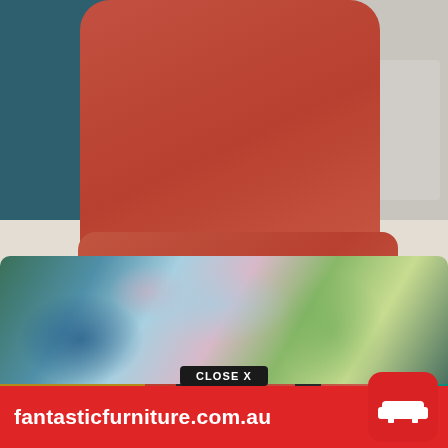[Figure (photo): Product photo of a rust/orange upholstered slipper chair with dark tapered legs, shown in a furniture showroom setting. Surrounding items include a yellow upholstered square ottoman on the left, a teal round stool on the right, and a colorful floral-patterned ottoman in the foreground. Background has teal/dark blue wall and light grey display cube.]
fantasticfurniture.com.au
CLOSE X